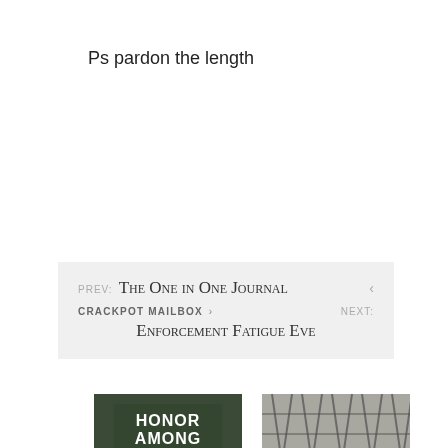Ps pardon the length
PREV: The One in One Journal ‹
CRACKPOT MAILBOX › NEXT: Enforcement Fatigue Eve
[Figure (photo): Book cover reading HONOR AMONG MEN with a soldier in a helmet]
[Figure (photo): Black and white photo of a chain-link fence with bare trees in the background]